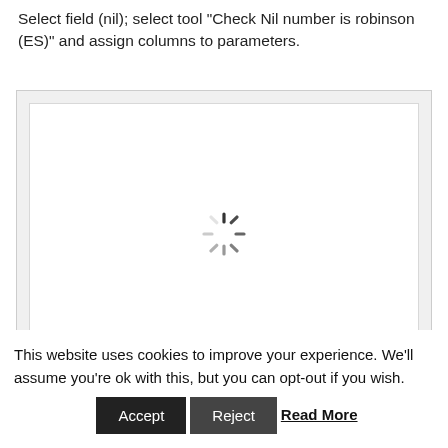Select field (nil); select tool "Check Nil number is robinson (ES)" and assign columns to parameters.
[Figure (screenshot): A screenshot area showing a loading spinner (circular dashed loader icon) centered on a white canvas inside a light gray bordered container, indicating content is still loading.]
This website uses cookies to improve your experience. We'll assume you're ok with this, but you can opt-out if you wish. Accept Reject Read More